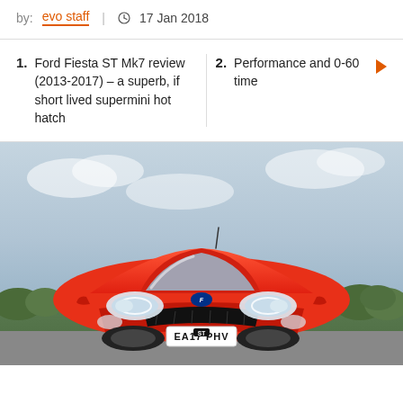by: evo staff  |  17 Jan 2018
1. Ford Fiesta ST Mk7 review (2013-2017) – a superb, if short lived supermini hot hatch
2. Performance and 0-60 time
[Figure (photo): Front view of a red Ford Fiesta ST with license plate EA17 PHV, photographed outdoors with greenery and cloudy sky in background]